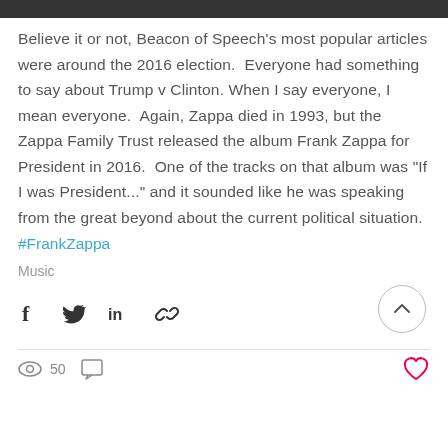Believe it or not, Beacon of Speech's most popular articles were around the 2016 election.  Everyone had something to say about Trump v Clinton. When I say everyone, I mean everyone.  Again, Zappa died in 1993, but the Zappa Family Trust released the album Frank Zappa for President in 2016.  One of the tracks on that album was "If I was President..." and it sounded like he was speaking from the great beyond about the current political situation.
#FrankZappa
Music
[Figure (other): Social share icons: Facebook, Twitter, LinkedIn, link/chain icon, and a back-to-top circular button with chevron]
50 views, comment icon, and heart/like icon